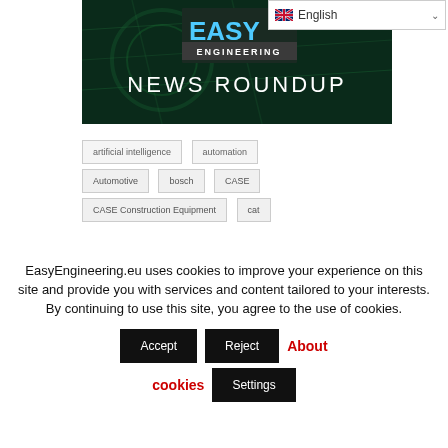[Figure (screenshot): Easy Engineering magazine banner showing 'EASY ENGINEERING' logo and 'NEWS ROUNDUP' text on a dark green background with mechanical imagery]
[Figure (screenshot): Language selector dropdown showing UK flag and 'English' text with chevron]
artificial intelligence
automation
Automotive
bosch
CASE
CASE Construction Equipment
cat
EasyEngineering.eu uses cookies to improve your experience on this site and provide you with services and content tailored to your interests. By continuing to use this site, you agree to the use of cookies.
Accept  Reject  About cookies  Settings